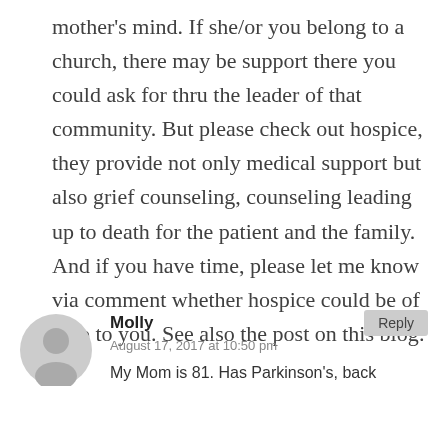mother's mind. If she/or you belong to a church, there may be support there you could ask for thru the leader of that community. But please check out hospice, they provide not only medical support but also grief counseling, counseling leading up to death for the patient and the family. And if you have time, please let me know via comment whether hospice could be of help to you. See also the post on this blog:
Molly
August 17, 2017 at 10:50 pm
My Mom is 81. Has Parkinson's, back